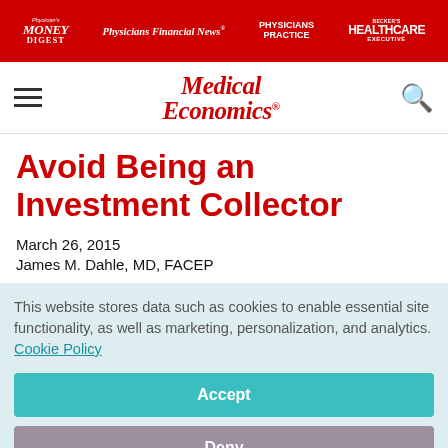Physician's Money Digest | Physicians Financial News | Physicians Practice | Becker's Healthcare Executive
[Figure (logo): Medical Economics logo with red italic text]
Avoid Being an Investment Collector
March 26, 2015
James M. Dahle, MD, FACEP
This website stores data such as cookies to enable essential site functionality, as well as marketing, personalization, and analytics. Cookie Policy
Accept
Deny